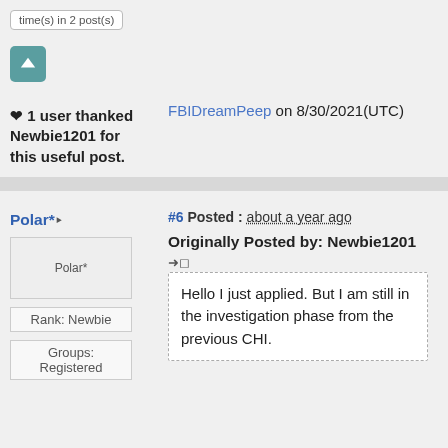time(s) in 2 post(s)
❤ 1 user thanked Newbie1201 for this useful post.
FBIDreamPeep on 8/30/2021(UTC)
Polar*
#6 Posted : about a year ago
[Figure (other): User avatar placeholder for Polar*]
Rank: Newbie
Groups: Registered
Originally Posted by: Newbie1201
Hello I just applied. But I am still in the investigation phase from the previous CHI.